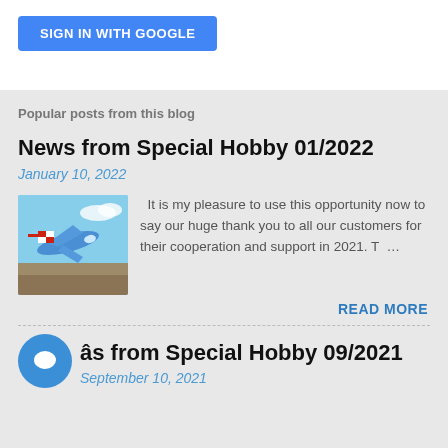[Figure (other): Blue 'Sign in with Google' button at top of page]
Popular posts from this blog
News from Special Hobby 01/2022
January 10, 2022
[Figure (illustration): Model airplane image - blue aircraft with red and white checkered markings]
It is my pleasure to use this opportunity now to say our huge thank you to all our customers for their cooperation and support in 2021. T...
READ MORE
News from Special Hobby 09/2021
September 10, 2021